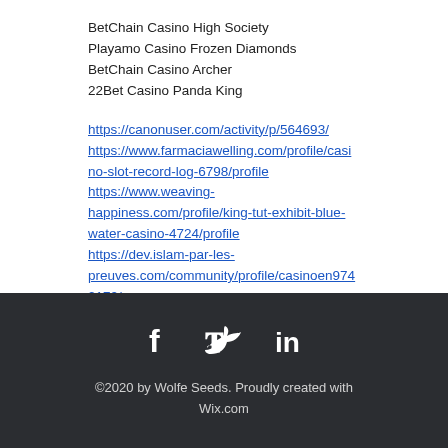BetChain Casino High Society
Playamo Casino Frozen Diamonds
BetChain Casino Archer
22Bet Casino Panda King
https://canonuser.com/activity/p/564693/
https://www.farmaciawelling.com/profile/casino-slot-record-log-6798/profile
https://www.weaving-happiness.com/profile/king-tut-exhibit-blue-water-casino-4724/profile
https://dev.islam-par-les-preuves.com/community/profile/casinoen9742170/
©2020 by Wolfe Seeds. Proudly created with Wix.com